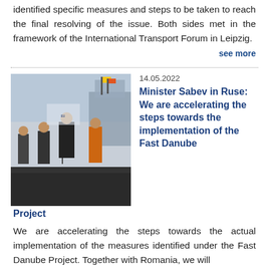identified specific measures and steps to be taken to reach the final resolving of the issue. Both sides met in the framework of the International Transport Forum in Leipzig.
see more
[Figure (photo): Minister Sabev speaking at a podium on a dock with a ship in the background, accompanied by several officials including a clergy member in orange robes.]
14.05.2022
Minister Sabev in Ruse: We are accelerating the steps towards the implementation of the Fast Danube Project
We are accelerating the steps towards the actual implementation of the measures identified under the Fast Danube Project. Together with Romania, we will